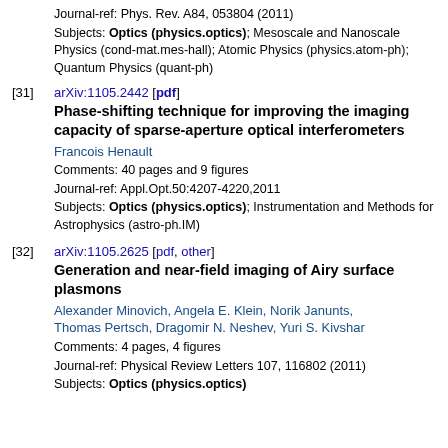Journal-ref: Phys. Rev. A84, 053804 (2011)
Subjects: Optics (physics.optics); Mesoscale and Nanoscale Physics (cond-mat.mes-hall); Atomic Physics (physics.atom-ph); Quantum Physics (quant-ph)
[31] arXiv:1105.2442 [pdf]
Phase-shifting technique for improving the imaging capacity of sparse-aperture optical interferometers
Francois Henault
Comments: 40 pages and 9 figures
Journal-ref: Appl.Opt.50:4207-4220,2011
Subjects: Optics (physics.optics); Instrumentation and Methods for Astrophysics (astro-ph.IM)
[32] arXiv:1105.2625 [pdf, other]
Generation and near-field imaging of Airy surface plasmons
Alexander Minovich, Angela E. Klein, Norik Janunts, Thomas Pertsch, Dragomir N. Neshev, Yuri S. Kivshar
Comments: 4 pages, 4 figures
Journal-ref: Physical Review Letters 107, 116802 (2011)
Subjects: Optics (physics.optics)